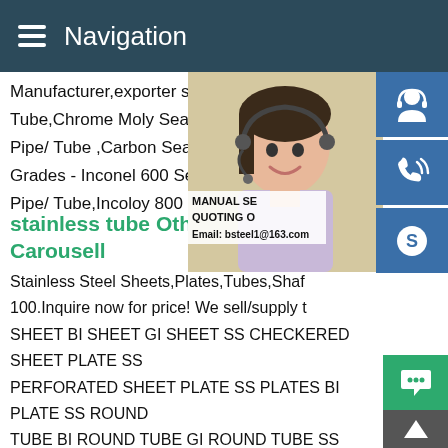Navigation
Manufacturer,exporter supplier of Alloy Steel Seamless/Welded Pipe/Tube,Chrome Moly Seamless Pipe/ Tube, Pipe/ Tube ,Carbon Seamless Pipe/ Welded ... Grades - Inconel 600 Seamless Pipe/ Tube ... Pipe/ Tube,Incoloy 800 Seamless Pipe/ Tube
stainless tube Other Kitchen Appliances Carousell
[Figure (photo): Woman with headset customer service representative photo with manual selling and quoting overlay text and email bsteel1@163.com]
Stainless Steel Sheets,Plates,Tubes,Shafting,Pipes.PHP 100.Inquire now for price! We sell/supply the following: SS SHEET BI SHEET GI SHEET SS CHECKERED SHEET PLATE SS PERFORATED SHEET PLATE SS PLATES BI PLATE SS ROUND TUBE BI ROUND TUBE GI ROUND TUBE SS SHAFTING BI SHAFTING SS PIPE SS PIPE SEAMLESS GI PIPEstainless tube Other Kitchen Appliances Carousell Stainless Steel Sheets,Plates,Tubes,Shafting,Pipes.PHP 100.Inquire now for